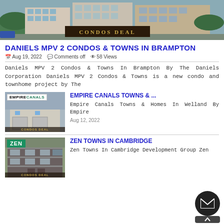[Figure (photo): Hero image of condo buildings with a dark wooden sign reading CONDOS DEAL in gold letters]
DANIELS MPV 2 CONDOS & TOWNS IN BRAMPTON
Aug 19, 2022   Comments off   58 Views
Daniels MPV 2 Condos & Towns In Brampton By The Daniels Corporation Daniels MPV 2 Condos & Towns is a new condo and townhome project by The
[Figure (photo): Thumbnail of Empire Canals townhome with Empire Canals logo and CONDOS DEAL banner]
EMPIRE CANALS TOWNS & ...
Empire Canals Towns & Homes In Welland By Empire
Aug 12, 2022
[Figure (photo): Thumbnail of Zen Towns townhome with ZEN logo and CONDOS DEAL banner]
ZEN TOWNS IN CAMBRIDGE
Zen Towns In Cambridge Development Group Zen